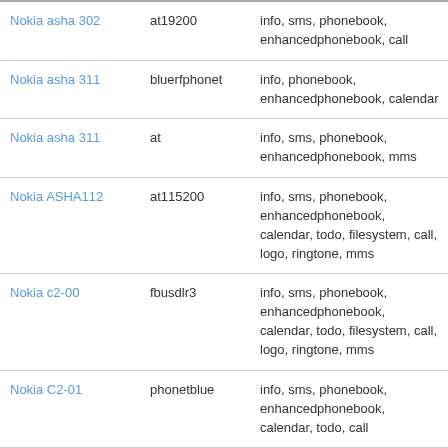| Nokia asha 302 | at19200 | info, sms, phonebook, enhancedphonebook, call |
| Nokia asha 311 | bluerfphonet | info, phonebook, enhancedphonebook, calendar |
| Nokia asha 311 | at | info, sms, phonebook, enhancedphonebook, mms |
| Nokia ASHA112 | at115200 | info, sms, phonebook, enhancedphonebook, calendar, todo, filesystem, call, logo, ringtone, mms |
| Nokia c2-00 | fbusdlr3 | info, sms, phonebook, enhancedphonebook, calendar, todo, filesystem, call, logo, ringtone, mms |
| Nokia C2-01 | phonetblue | info, sms, phonebook, enhancedphonebook, calendar, todo, call |